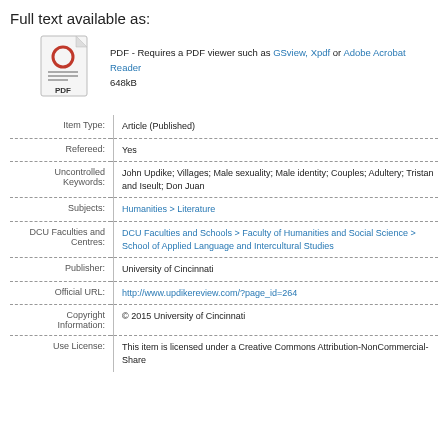Full text available as:
[Figure (illustration): PDF document icon showing a red circle O on a white page with horizontal lines and 'PDF' label at the bottom]
PDF - Requires a PDF viewer such as GSview, Xpdf or Adobe Acrobat Reader
648kB
| Field | Value |
| --- | --- |
| Item Type: | Article (Published) |
| Refereed: | Yes |
| Uncontrolled Keywords: | John Updike; Villages; Male sexuality; Male identity; Couples; Adultery; Tristan and Iseult; Don Juan |
| Subjects: | Humanities > Literature |
| DCU Faculties and Centres: | DCU Faculties and Schools > Faculty of Humanities and Social Science > School of Applied Language and Intercultural Studies |
| Publisher: | University of Cincinnati |
| Official URL: | http://www.updikereview.com/?page_id=264 |
| Copyright Information: | © 2015 University of Cincinnati |
| Use License: | This item is licensed under a Creative Commons Attribution-NonCommercial-Share |